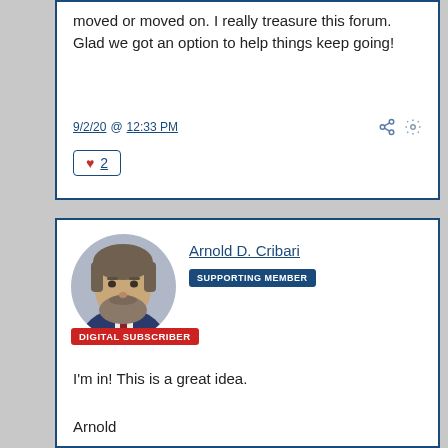moved or moved on. I really treasure this forum. Glad we got an option to help things keep going!
9/2/20 @ 12:33 PM
♥ 2
[Figure (photo): Profile photo of Arnold D. Cribari, a man with grey hair and beard wearing a dark suit]
Arnold D. Cribari SUPPORTING MEMBER
DIGITAL SUBSCRIBER
I'm in! This is a great idea.
Arnold
9/2/20 @ 12:48 PM *